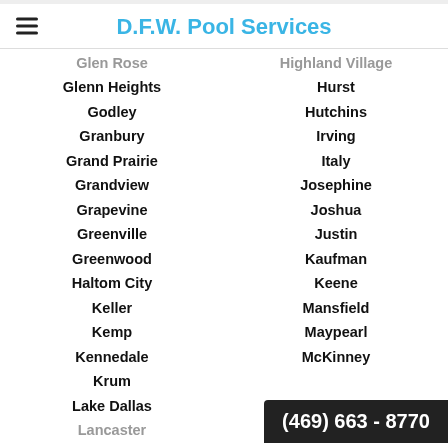D.F.W. Pool Services
Glen Rose
Highland Village
Glenn Heights
Hurst
Godley
Hutchins
Granbury
Irving
Grand Prairie
Italy
Grandview
Josephine
Grapevine
Joshua
Greenville
Justin
Greenwood
Kaufman
Haltom City
Keene
Keller
Mansfield
Kemp
Maypearl
Kennedale
McKinney
Krum
Lake Dallas
Lancaster
Merit
(469) 663 - 8770